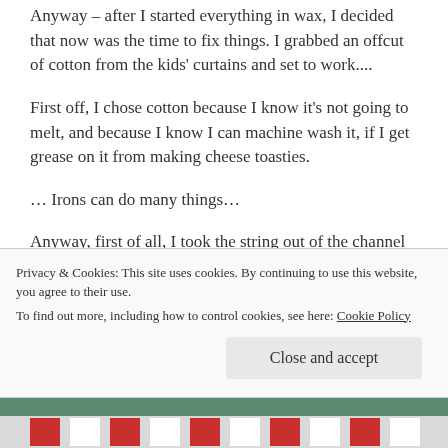Anyway – after I started everything in wax, I decided that now was the time to fix things. I grabbed an offcut of cotton from the kids' curtains and set to work....
First off, I chose cotton because I know it's not going to melt, and because I know I can machine wash it, if I get grease on it from making cheese toasties.
… Irons can do many things…
Anyway, first of all, I took the string out of the channel and set it to one side. Then I ripped off the horrible, amalgamated Franken-channel, formed from the deceased ironing board covers that came before it.
Privacy & Cookies: This site uses cookies. By continuing to use this website, you agree to their use.
To find out more, including how to control cookies, see here: Cookie Policy
Close and accept
[Figure (photo): Bottom strip showing part of a photo, appears to show striped fabric in red and white with a greenish background at the top.]